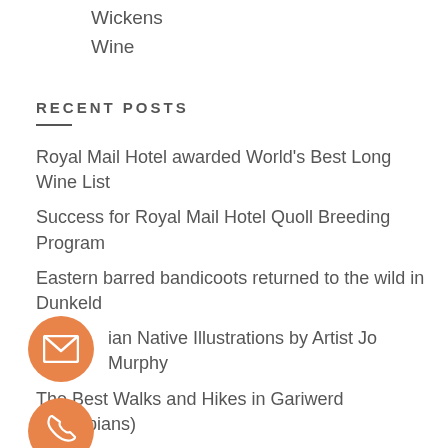Wickens
Wine
RECENT POSTS
Royal Mail Hotel awarded World's Best Long Wine List
Success for Royal Mail Hotel Quoll Breeding Program
Eastern barred bandicoots returned to the wild in Dunkeld
Australian Native Illustrations by Artist Jo Murphy
The Best Walks and Hikes in Gariwerd (Grampians)
Wildflower Season in Gariwerd (Grampians National P…